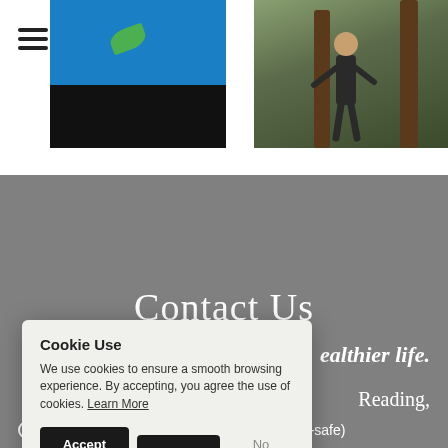[Figure (photo): Left image: blue background with green leaf shape at top, black panel at bottom]
[Figure (photo): Right image: person standing in forest/trees outdoors]
Contact Us
healthier life.
Reading,
Contact us for session timings (Keep Covid-safe)
Cookie Use
We use cookies to ensure a smooth browsing experience. By accepting, you agree the use of cookies. Learn More
Accept all | Settings | No Thanks